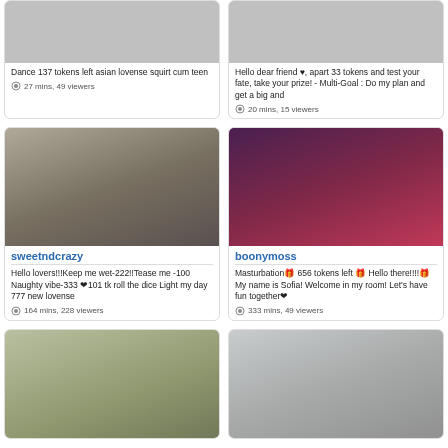Dance 137 tokens left asian lovense squirt cum teen
27 mins, 49 viewers
Hello dear friend ♥, apart 33 tokens and test your fate, take your prize! - Multi-Goal : Do my plan and get a big and
20 mins, 15 viewers
[Figure (photo): Woman in black outfit sitting on bed]
sweetndcrazy
Hello lovers!!!Keep me wet-222!!Tease me -100 Naughty vibe-333 ❤101 tk roll the dice Light my day 777 new lovense
164 mins, 228 viewers
[Figure (photo): Woman in room with colorful graffiti background]
boonymoss
Masturbation🎁 656 tokens left 🎁 Hello there!!!!🎁My name is Sofia! Welcome in my room! Let's have fun together❤
333 mins, 49 viewers
[Figure (photo): Woman with glasses at desk with green wall]
[Figure (photo): Woman in kitchen setting]